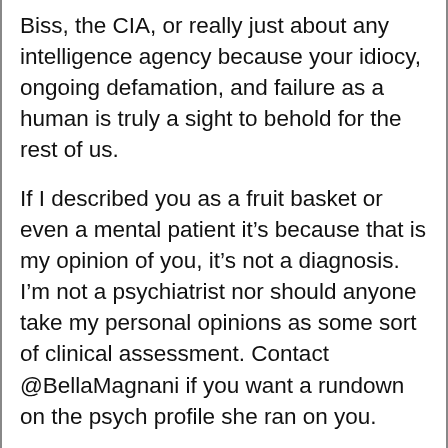Biss, the CIA, or really just about any intelligence agency because your idiocy, ongoing defamation, and failure as a human is truly a sight to behold for the rest of us.
If I described you as a fruit basket or even a mental patient it’s because that is my opinion of you, it’s not a diagnosis. I’m not a psychiatrist nor should anyone take my personal opinions as some sort of clinical assessment. Contact @BellaMagnani if you want a rundown on the psych profile she ran on you.
This is an Op-ed article. The information contained in this post is for general information purposes only. While we endeavor to keep the information up to date and correct, we make no